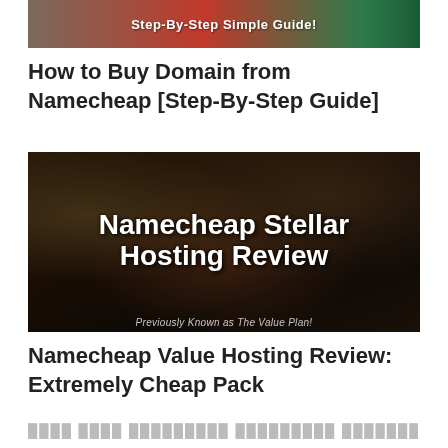[Figure (screenshot): Banner image with colorful background (brown, red, green) with white bold text reading 'Step-By-Step Simple Guide!']
How to Buy Domain from Namecheap [Step-By-Step Guide]
[Figure (screenshot): Dark thumbnail image with text 'Namecheap Stellar Hosting Review' in large white bold font, and subtitle 'Previously Known as The Value Plan!' at the bottom]
Namecheap Value Hosting Review: Extremely Cheap Pack
[redacted text in non-Latin script]